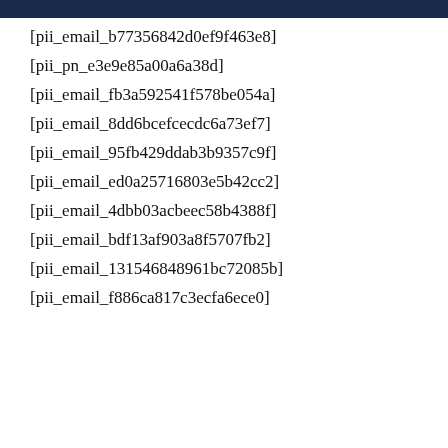[pii_email_b77356842d0ef9f463e8]
[pii_pn_e3e9e85a00a6a38d]
[pii_email_fb3a592541f578be054a]
[pii_email_8dd6bcefcecdc6a73ef7]
[pii_email_95fb429ddab3b9357c9f]
[pii_email_ed0a25716803e5b42cc2]
[pii_email_4dbb03acbeec58b4388f]
[pii_email_bdf13af903a8f5707fb2]
[pii_email_131546848961bc72085b]
[pii_email_f886ca817c3ecfa6ece0]